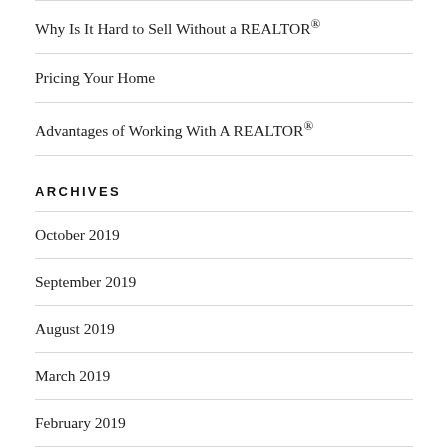Why Is It Hard to Sell Without a REALTOR®
Pricing Your Home
Advantages of Working With A REALTOR®
ARCHIVES
October 2019
September 2019
August 2019
March 2019
February 2019
January 2019